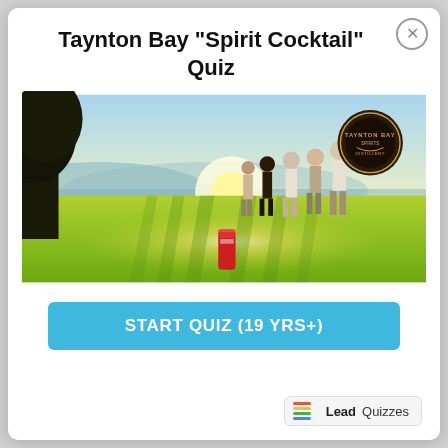Taynton Bay "Spirit Cocktail" Quiz
[Figure (photo): Outdoor scene at sunset with a group of people standing on a green lawn near a lake. A red bottle/can is in the foreground on the grass. A Taynton Bay logo badge is in the upper right of the image.]
START QUIZ (19 YRS+)
LeadQuizzes